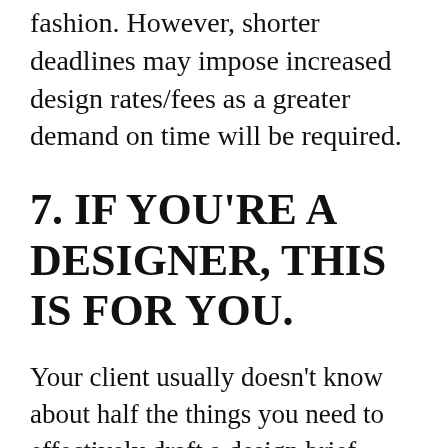fashion. However, shorter deadlines may impose increased design rates/fees as a greater demand on time will be required.
7. IF YOU'RE A DESIGNER, THIS IS FOR YOU.
Your client usually doesn't know about half the things you need to effectively draft a design brief. Here is some advice – put together a template like this one that helps create an effective